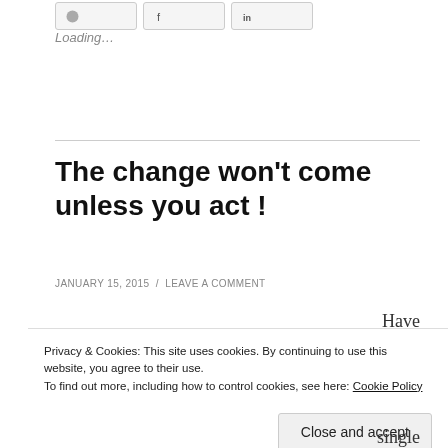[Figure (screenshot): Three social media share buttons (Twitter/circle, Facebook f, LinkedIn in) at the top of the page]
Loading...
The change won't come unless you act !
JANUARY 15, 2015  /  LEAVE A COMMENT
Have
Privacy & Cookies: This site uses cookies. By continuing to use this website, you agree to their use.
To find out more, including how to control cookies, see here: Cookie Policy
Close and accept
single